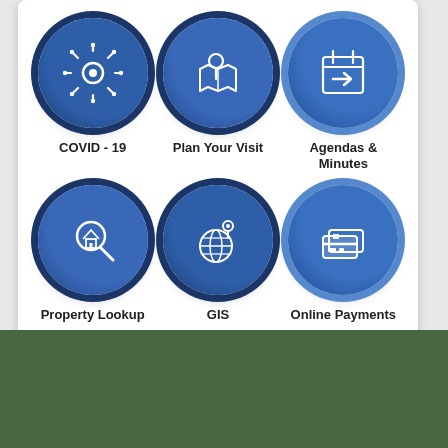[Figure (infographic): Government website navigation icons grid showing 6 circular blue icon buttons: COVID-19 (virus/snowflake icon), Plan Your Visit (map pin and map icon), Agendas & Minutes (calendar with arrow icon), Property Lookup (magnifying glass with house icon), GIS (globe with map pin icon), Online Payments (credit card icon). Each icon is a white symbol on a blue circular background with a dark blue ring border.]
COVID - 19
Plan Your Visit
Agendas & Minutes
Property Lookup
GIS
Online Payments